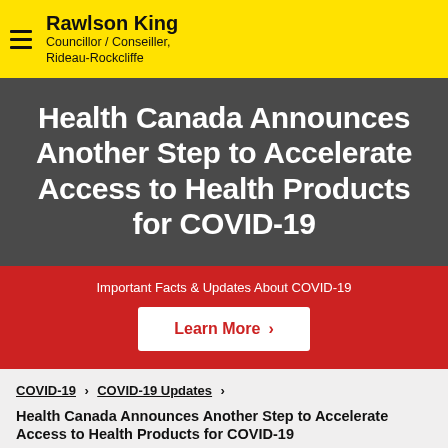Rawlson King
Councillor / Conseiller,
Rideau-Rockcliffe
Health Canada Announces Another Step to Accelerate Access to Health Products for COVID-19
Important Facts & Updates About COVID-19
Learn More
COVID-19 > COVID-19 Updates >
Health Canada Announces Another Step to Accelerate Access to Health Products for COVID-19